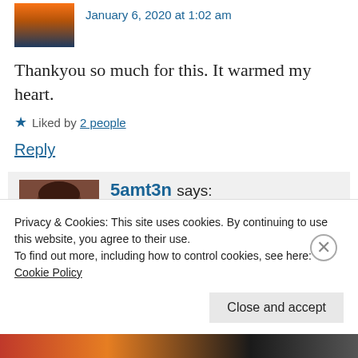January 6, 2020 at 1:02 am
Thankyou so much for this. It warmed my heart.
★ Liked by 2 people
Reply
5amt3n says:
March 24, 2020 at 1:46 am
Privacy & Cookies: This site uses cookies. By continuing to use this website, you agree to their use.
To find out more, including how to control cookies, see here: Cookie Policy
Close and accept